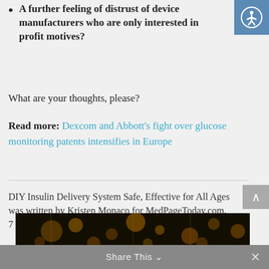A further feeling of distrust of device manufacturers who are only interested in profit motives?
What are your thoughts, please?
Read more: Dexcom and Abbott's fight over glucose monitoring patents intensifies in Europe
DIY Insulin Delivery System Safe, Effective for All Ages was written by Kristen Monaco for MedPageToday.com, 7 June 2022.
[Figure (photo): Dark bokeh background image with golden bokeh lights]
Share This